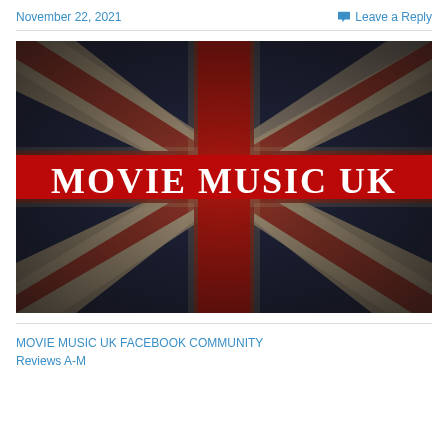November 22, 2021
Leave a Reply
[Figure (logo): Union Jack flag with text 'MOVIE MUSIC UK' displayed in bold white letters on a red horizontal band across the center of the distressed/vintage styled flag]
MOVIE MUSIC UK FACEBOOK COMMUNITY
Reviews A-M